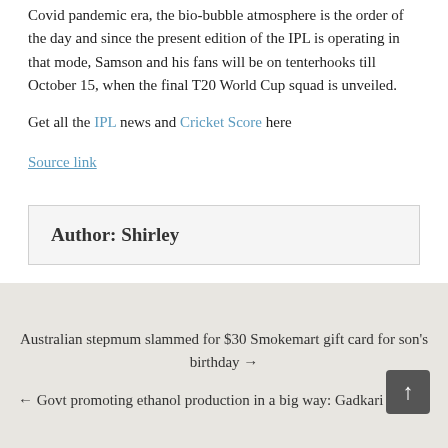Covid pandemic era, the bio-bubble atmosphere is the order of the day and since the present edition of the IPL is operating in that mode, Samson and his fans will be on tenterhooks till October 15, when the final T20 World Cup squad is unveiled.
Get all the IPL news and Cricket Score here
Source link
Author: Shirley
Australian stepmum slammed for $30 Smokemart gift card for son's birthday →
← Govt promoting ethanol production in a big way: Gadkari